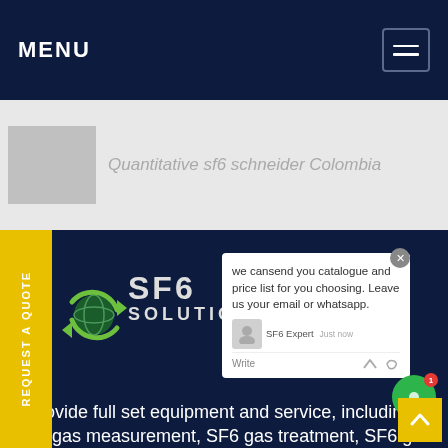MENU
Quantitative sf6 schneider Colombia
[Figure (screenshot): SF6 Solution company logo with globe and recycling arrows, dark navy background, showing SF6 SOLUTION branding]
we cansend you catalogue and price list for you choosing. Leave us your email or whatsapp.
we provide full set equipment and service, including SF6 gas measurement, SF6 gas treatment, SF6 gas equipment maintenance and professional training.